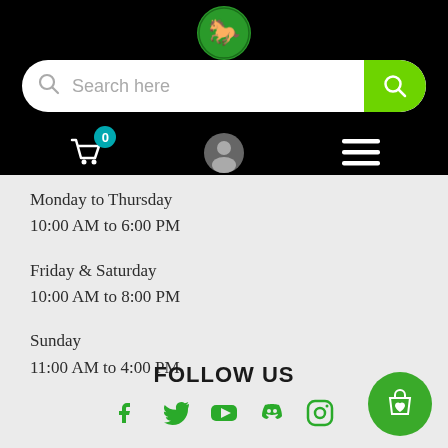[Figure (logo): Green circular logo with horse silhouette on black header background]
[Figure (screenshot): Search bar with magnifying glass icon and green search button]
[Figure (screenshot): Navigation icons: shopping cart with badge 0, user avatar, hamburger menu]
Monday to Thursday
10:00 AM to 6:00 PM
Friday & Saturday
10:00 AM to 8:00 PM
Sunday
11:00 AM to 4:00 PM
FOLLOW US
[Figure (illustration): Social media icons: Facebook, Twitter, YouTube, Discord, Instagram in green]
[Figure (illustration): Green circular wishlist/shopping bag button with heart icon]